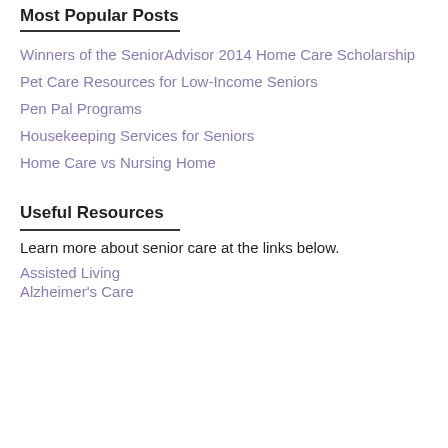Most Popular Posts
Winners of the SeniorAdvisor 2014 Home Care Scholarship
Pet Care Resources for Low-Income Seniors
Pen Pal Programs
Housekeeping Services for Seniors
Home Care vs Nursing Home
Useful Resources
Learn more about senior care at the links below.
Assisted Living
Alzheimer's Care